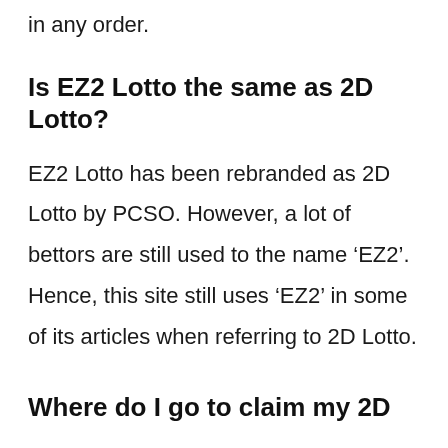in any order.
Is EZ2 Lotto the same as 2D Lotto?
EZ2 Lotto has been rebranded as 2D Lotto by PCSO. However, a lot of bettors are still used to the name ‘EZ2’. Hence, this site still uses ‘EZ2’ in some of its articles when referring to 2D Lotto.
Where do I go to claim my 2D